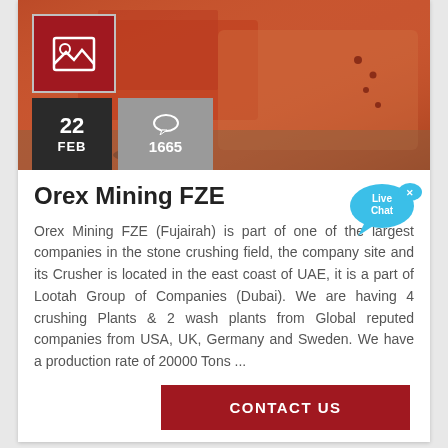[Figure (photo): Orange/red industrial mining machinery (crusher equipment) photographed close-up on a wooden pallet, with a red image icon overlay box in the top-left corner, a dark date badge showing '22 FEB', and a grey comments badge showing '1665']
Orex Mining FZE
Orex Mining FZE (Fujairah) is part of one of the largest companies in the stone crushing field, the company site and its Crusher is located in the east coast of UAE, it is a part of Lootah Group of Companies (Dubai). We are having 4 crushing Plants & 2 wash plants from Global reputed companies from USA, UK, Germany and Sweden. We have a production rate of 20000 Tons ...
[Figure (illustration): Blue speech bubble 'Live Chat' button with a smaller secondary bubble, and a small 'x' close icon]
CONTACT US